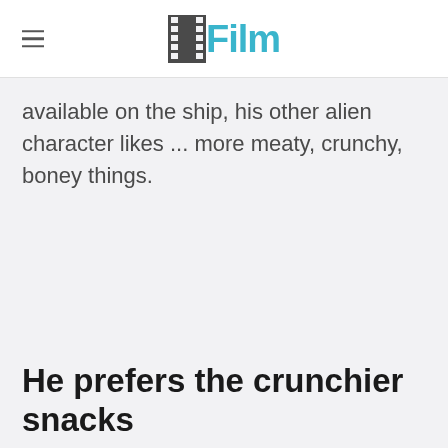/Film
available on the ship, his other alien character likes ... more meaty, crunchy, boney things.
He prefers the crunchier snacks